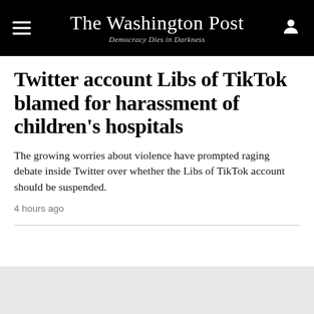The Washington Post — Democracy Dies in Darkness
Twitter account Libs of TikTok blamed for harassment of children's hospitals
The growing worries about violence have prompted raging debate inside Twitter over whether the Libs of TikTok account should be suspended.
4 hours ago
Most Read World